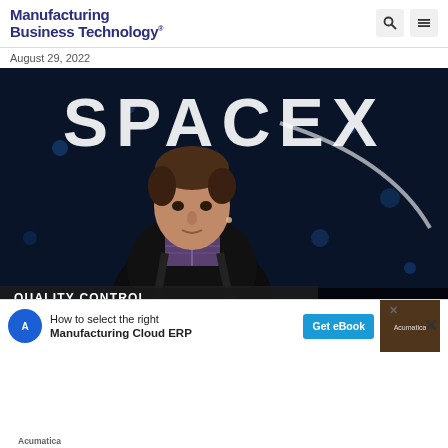Manufacturing Business Technology
August 29, 2022
[Figure (photo): Elon Musk standing in front of a SpaceX logo on a dark blue stage background, with 'QUALITY CONTROL' label overlay at bottom left]
SpaceX [partially obscured] with Satellite[partially obscured]
The companies are looking to provide tax-[continues]